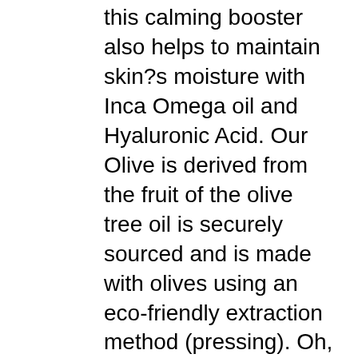this calming booster also helps to maintain skin?s moisture with Inca Omega oil and Hyaluronic Acid. Our Olive is derived from the fruit of the olive tree oil is securely sourced and is made with olives using an eco-friendly extraction method (pressing). Oh, my! Experience hydrating skin regeneration and renewal with Corrective Skin's age fighting Rejuvenation Serums and Creams. Choose from contactless Same Day Delivery, Drive Up and more. technology (Clarify, Protect and Revitalise) and a powerful form of vitamin C, the radiance-boosting gel-cream delivers intense hydration to … Caution: This product is manufactured and packaged in a facility which may also process milk, soy, wheat, egg, peanuts, tree nuts, fish and crustacean shellfish. Moisture Bliss Fortifying Strengthening Cream Moisture enriched facial cream that delivers smoother, softer skin with liposomal vitamins A, C, E, Green Tea, Coenzyme Q-10. Shop for facial serum vitality online at Target. Designed to moisturize your skin with a gel-to-cream texture, this bliss Vitamin C day cream is just what your daily face needs. Dr.Oz Anti Aging Cream 2017 Best Anti